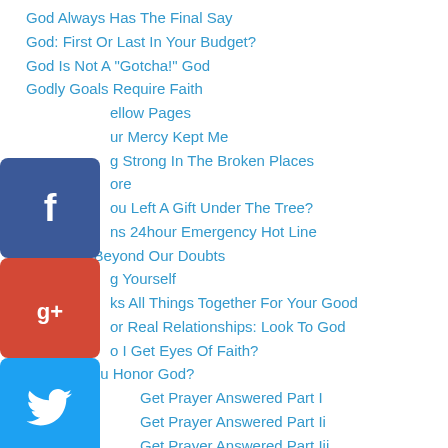God Always Has The Final Say
God: First Or Last In Your Budget?
God Is Not A "Gotcha!" God
Godly Goals Require Faith
…ellow Pages
…ur Mercy Kept Me
…g Strong In The Broken Places
…ore
…ou Left A Gift Under The Tree?
…ns 24hour Emergency Hot Line
He Looks Beyond Our Doubts
…g Yourself
…ks All Things Together For Your Good
…or Real Relationships: Look To God
…o I Get Eyes Of Faith?
How Do You Honor God?
…Get Prayer Answered Part I
…Get Prayer Answered Part Ii
…Get Prayer Answered Part Iii
…nds Love Your Wives
I Am Taking Charge Of Everything…
[Figure (infographic): Social share buttons: Facebook, Google+, Twitter, Pinterest, Blogger, YouTube, More]